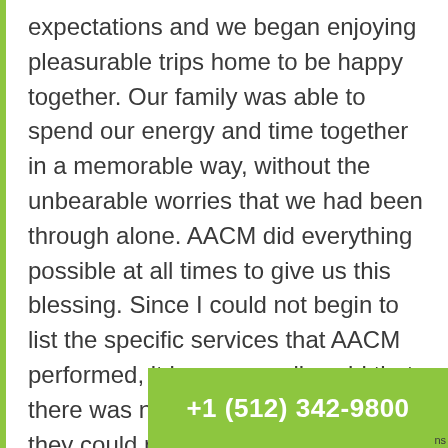expectations and we began enjoying pleasurable trips home to be happy together. Our family was able to spend our energy and time together in a memorable way, without the unbearable worries that we had been through alone. AACM did everything possible at all times to give us this blessing. Since I could not begin to list the specific services that AACM performed, it is more easily said that there was not a single matter that they could not be of ass... handle reliably and my mother's quality
+1 (512) 342-9800